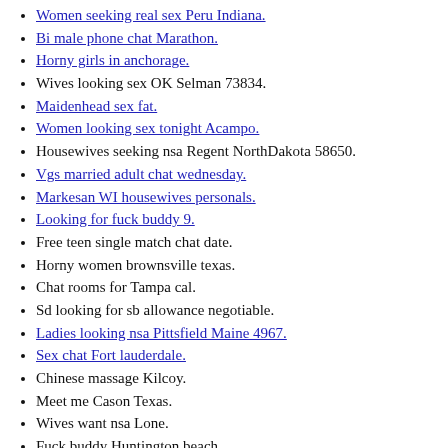Women seeking real sex Peru Indiana.
Bi male phone chat Marathon.
Horny girls in anchorage.
Wives looking sex OK Selman 73834.
Maidenhead sex fat.
Women looking sex tonight Acampo.
Housewives seeking nsa Regent NorthDakota 58650.
Vgs married adult chat wednesday.
Markesan WI housewives personals.
Looking for fuck buddy 9.
Free teen single match chat date.
Horny women brownsville texas.
Chat rooms for Tampa cal.
Sd looking for sb allowance negotiable.
Ladies looking nsa Pittsfield Maine 4967.
Sex chat Fort lauderdale.
Chinese massage Kilcoy.
Meet me Cason Texas.
Wives want nsa Lone.
Fuck buddy Huntington beach.
Waterloo SC housewives personals.
+ Best Questions To Ask A Girl You Like – Deep Conversation Starters